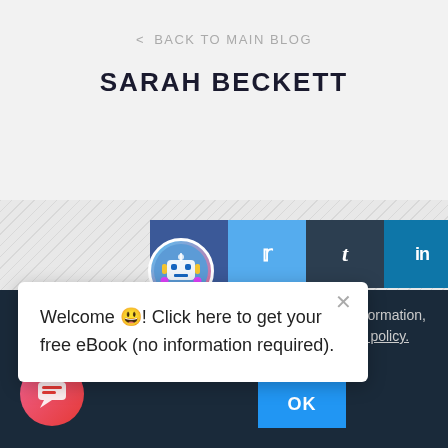< BACK TO MAIN BLOG
SARAH BECKETT
[Figure (screenshot): Social sharing bar with Facebook, Twitter, Tumblr, and LinkedIn buttons]
[Figure (infographic): Popup tooltip showing: Welcome! Click here to get your free eBook (no information required). With close X button.]
you consent to For more information, please view our privacy policy.
OK